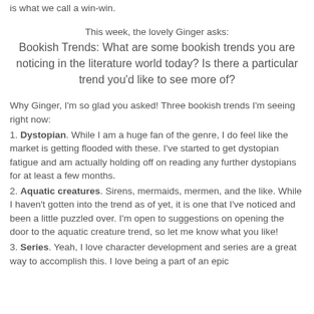is what we call a win-win.
This week, the lovely Ginger asks:
Bookish Trends: What are some bookish trends you are noticing in the literature world today? Is there a particular trend you'd like to see more of?
Why Ginger, I'm so glad you asked! Three bookish trends I'm seeing right now:
1. Dystopian. While I am a huge fan of the genre, I do feel like the market is getting flooded with these. I've started to get dystopian fatigue and am actually holding off on reading any further dystopians for at least a few months.
2. Aquatic creatures. Sirens, mermaids, mermen, and the like. While I haven't gotten into the trend as of yet, it is one that I've noticed and been a little puzzled over. I'm open to suggestions on opening the door to the aquatic creature trend, so let me know what you like!
3. Series. Yeah, I love character development and series are a great way to accomplish this. I love being a part of an epic